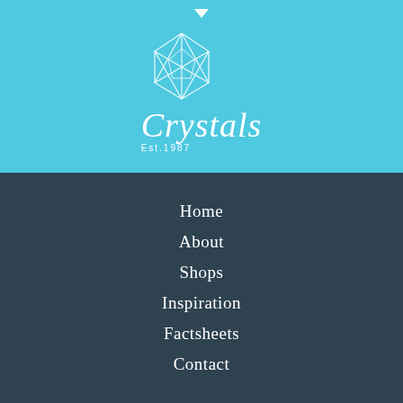[Figure (logo): Crystals brand logo with geometric gem/diamond outline above the script text 'Crystals' and 'Est.1987' subtitle on a teal/cyan background]
Home
About
Shops
Inspiration
Factsheets
Contact